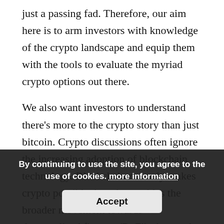just a passing fad. Therefore, our aim here is to arm investors with knowledge of the crypto landscape and equip them with the tools to evaluate the myriad crypto options out there.
We also want investors to understand there's more to the crypto story than just bitcoin. Crypto discussions often ignore the increasing adoption of blockchain technology. Blockchain not only makes crypto possible, but also enables the broader movement towards decentralized finance (DeFi), the secular force that we think is driving the advent of digital currencies. If crypto is to be taken seriously as an asset class and not just a means to speculate on digital art or sports videos, we believe investors should explore the opportunities within DeFi alongside bitcoin.
By continuing to use the site, you agree to the use of cookies. more information [Accept]